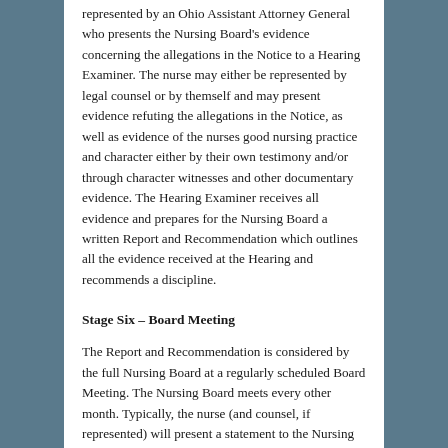represented by an Ohio Assistant Attorney General who presents the Nursing Board's evidence concerning the allegations in the Notice to a Hearing Examiner. The nurse may either be represented by legal counsel or by themself and may present evidence refuting the allegations in the Notice, as well as evidence of the nurses good nursing practice and character either by their own testimony and/or through character witnesses and other documentary evidence. The Hearing Examiner receives all evidence and prepares for the Nursing Board a written Report and Recommendation which outlines all the evidence received at the Hearing and recommends a discipline.
Stage Six – Board Meeting
The Report and Recommendation is considered by the full Nursing Board at a regularly scheduled Board Meeting. The Nursing Board meets every other month. Typically, the nurse (and counsel, if represented) will present a statement to the Nursing Board in their